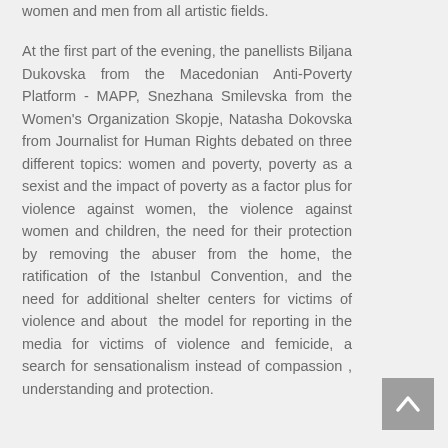women and men from all artistic fields.
At the first part of the evening, the panellists Biljana Dukovska from the Macedonian Anti-Poverty Platform - MAPP, Snezhana Smilevska from the Women's Organization Skopje, Natasha Dokovska from Journalist for Human Rights debated on three different topics: women and poverty, poverty as a sexist and the impact of poverty as a factor plus for violence against women, the violence against women and children, the need for their protection by removing the abuser from the home, the ratification of the Istanbul Convention, and the need for additional shelter centers for victims of violence and about the model for reporting in the media for victims of violence and femicide, a search for sensationalism instead of compassion , understanding and protection.